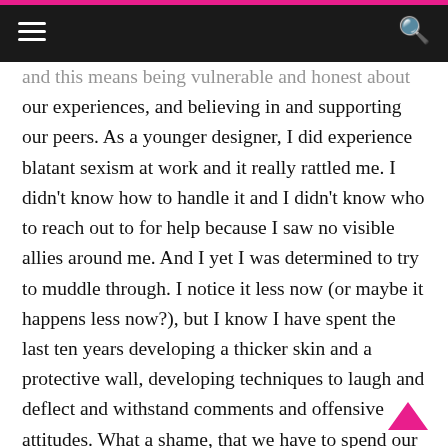Navigation bar with hamburger menu and search icon
and this means being vulnerable and honest about our experiences, and believing in and supporting our peers. As a younger designer, I did experience blatant sexism at work and it really rattled me. I didn't know how to handle it and I didn't know who to reach out to for help because I saw no visible allies around me. And I yet I was determined to try to muddle through. I notice it less now (or maybe it happens less now?), but I know I have spent the last ten years developing a thicker skin and a protective wall, developing techniques to laugh and deflect and withstand comments and offensive attitudes. What a shame, that we have to spend our energy building and maintaining a personal defense shield instead of focusing on our work, and what a waste to be building a personal wall instead of being open and